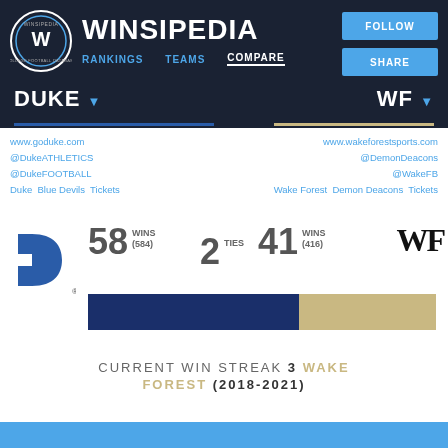[Figure (logo): Winsipedia logo circle with W]
WINSIPEDIA
RANKINGS  TEAMS  COMPARE
DUKE   WF
www.goduke.com @DukeATHLETICS @DukeFOOTBALL Duke Blue Devils Tickets
www.wakeforestsports.com @DemonDeacons @WakeFB Wake Forest Demon Deacons Tickets
[Figure (logo): Duke Blue Devils D logo]
58 WINS (584)  2 TIES  41 WINS (416)
[Figure (bar-chart): Head-to-head wins bar]
[Figure (logo): WF Wake Forest logo text]
CURRENT WIN STREAK 3 WAKE FOREST (2018-2021)